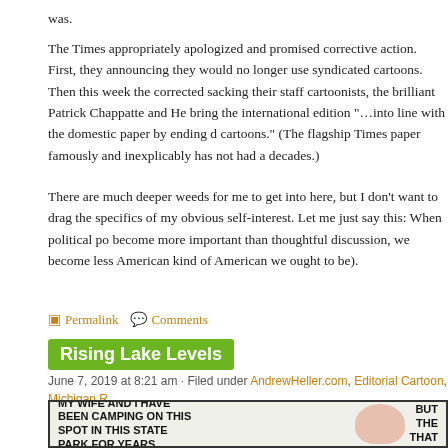was.
The Times appropriately apologized and promised corrective action. First, they announcing they would no longer use syndicated cartoons. Then this week the corrected sacking their staff cartoonists, the brilliant Patrick Chappatte and He bring the international edition "…into line with the domestic paper by ending d cartoons." (The flagship Times paper famously and inexplicably has not had a decades.)
There are much deeper weeds for me to get into here, but I don't want to drag the specifics of my obvious self-interest. Let me just say this: When political po become more important than thoughtful discussion, we become less American kind of American we ought to be).
Permalink   Comments
Rising Lake Levels
June 7, 2019 at 8:21 am · Filed under AndrewHeller.com, Editorial Cartoon, Michigan R MichiganRadio.org
[Figure (illustration): Comic strip panel showing two characters. Left side has bold capitalized text: MY WIFE AND I HAVE BEEN CAMPING ON THIS SPOT IN THIS STATE PARK FOR YEARS. Right side partially shows text: BUT THE THAT]